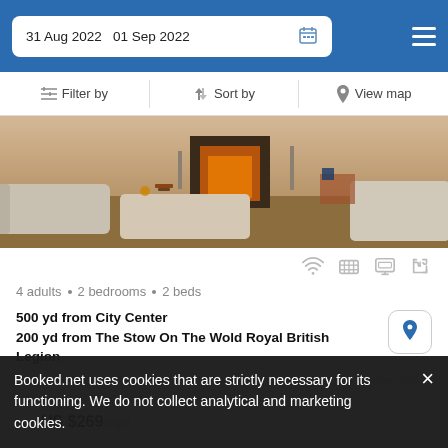31 Aug 2022  01 Sep 2022
Filter by   Sort by   View map
[Figure (photo): Interior photo of a villa living room with sofas, ottomans, fireplace, and decorative items]
4 adults · 2 bedrooms · 2 beds
500 yd from City Center
200 yd from The Stow On The Wold Royal British Legion
Situated in Stow-on-the-Wold, a 10-minute drive to Rockcliffe House, this villa features the garden and a terrace.
from US $269 /night
Booked.net uses cookies that are strictly necessary for its functioning. We do not collect analytical and marketing cookies.